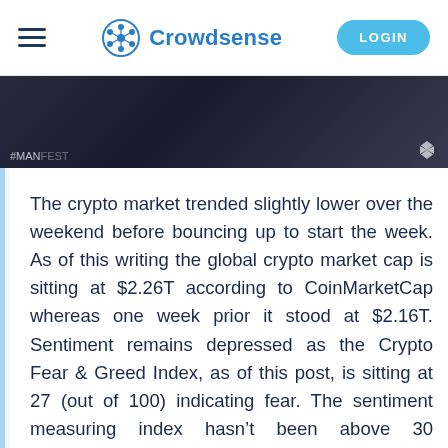Crowdsense | LOGIN
[Figure (photo): Dark image strip with #MANIFEST text and NBC logo watermark]
The crypto market trended slightly lower over the weekend before bouncing up to start the week. As of this writing the global crypto market cap is sitting at $2.26T according to CoinMarketCap whereas one week prior it stood at $2.16T. Sentiment remains depressed as the Crypto Fear & Greed Index, as of this post, is sitting at 27 (out of 100) indicating fear. The sentiment measuring index hasn't been above 30 throughout December whereas in early November when the market was at an all-time high, it reached the “extreme greed” level of 84. This